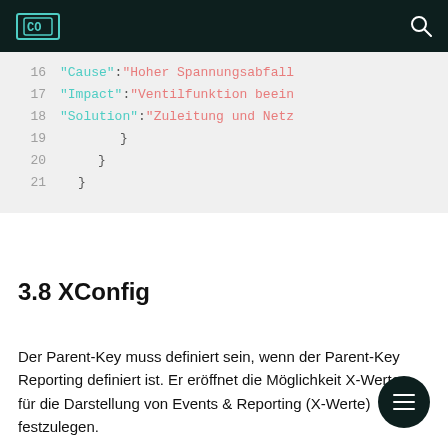CO [logo] [search icon]
[Figure (screenshot): Code block showing JSON lines 16-21 with 'Cause', 'Impact', 'Solution' string keys in teal and their string values in salmon, with closing braces on lines 19-21]
3.8 XConfig
Der Parent-Key muss definiert sein, wenn der Parent-Key Reporting definiert ist. Er eröffnet die Möglichkeit X-Werte für die Darstellung von Events & Reporting (X-Werte) festzulegen.